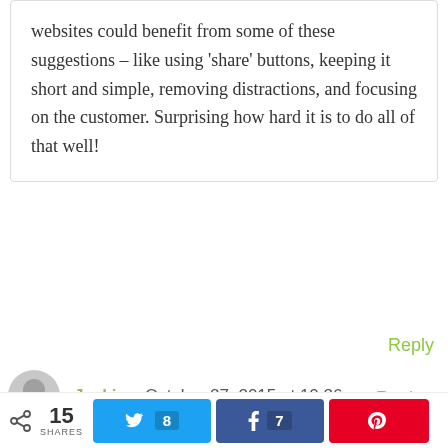websites could benefit from some of these suggestions – like using 'share' buttons, keeping it short and simple, removing distractions, and focusing on the customer. Surprising how hard it is to do all of that well!
Reply
Jacki on October 27, 2015 at 10:26 am
The part about making the customer feel stupid – wow. I'm shocked at how disrespectful that is. I like to take those kinds of comments or
15 SHARES
8
7